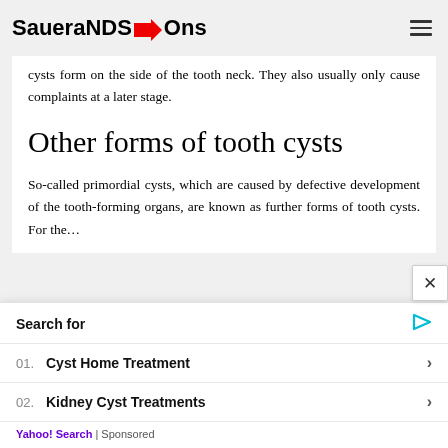SaueraNDS→Ons
cysts form on the side of the tooth neck. They also usually only cause complaints at a later stage.
Other forms of tooth cysts
So-called primordial cysts, which are caused by defective development of the tooth-forming organs, are known as further forms of tooth cysts. For the…
Search for
01. Cyst Home Treatment
02. Kidney Cyst Treatments
Yahoo! Search | Sponsored